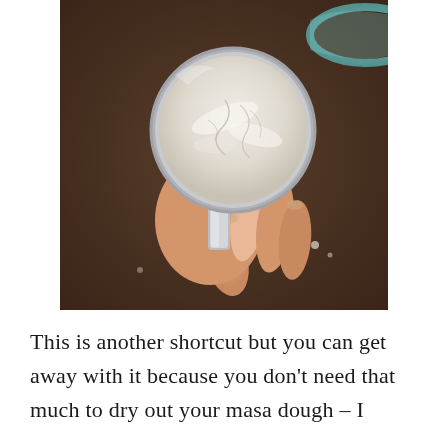[Figure (photo): A hand holding a round measuring cup filled with white flour or masa harina powder, set against a dark brown rustic surface. A partial view of a bowl is visible in the upper right corner.]
This is another shortcut but you can get away with it because you don't need that much to dry out your masa dough – I